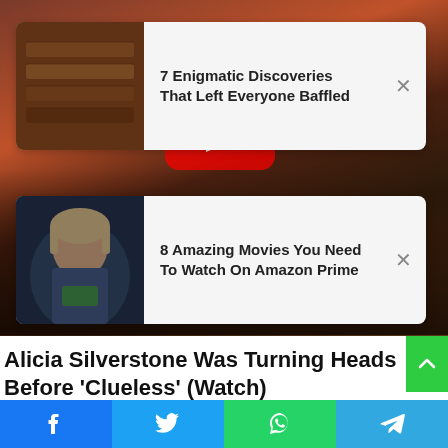[Figure (screenshot): Blurred background image with YouTube logo hint and dark cinematic background]
7 Enigmatic Discoveries That Left Everyone Baffled
8 Amazing Movies You Need To Watch On Amazon Prime
Alicia Silverstone Was Turning Heads Before 'Clueless' (Watch)
TRAITSLAB
[Figure (screenshot): Next article preview strip at bottom]
[Figure (infographic): Social share bar with Facebook, Twitter, WhatsApp, and Telegram buttons]